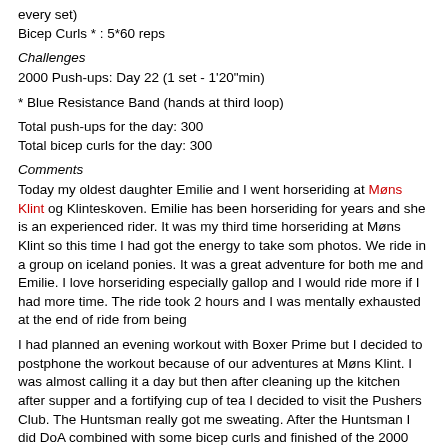every set)
Bicep Curls * : 5*60 reps
Challenges
2000 Push-ups: Day 22 (1 set - 1'20"min)
* Blue Resistance Band (hands at third loop)
Total push-ups for the day: 300
Total bicep curls for the day: 300
Comments
Today my oldest daughter Emilie and I went horseriding at Møns Klint og Klinteskoven. Emilie has been horseriding for years and she is an experienced rider. It was my third time horseriding at Møns Klint so this time I had got the energy to take som photos. We ride in a group on iceland ponies. It was a great adventure for both me and Emilie. I love horseriding especially gallop and I would ride more if I had more time. The ride took 2 hours and I was mentally exhausted at the end of ride from being
I had planned an evening workout with Boxer Prime but I decided to postphone the workout because of our adventures at Møns Klint. I was almost calling it a day but then after cleaning up the kitchen after supper and a fortifying cup of tea I decided to visit the Pushers Club. The Huntsman really got me sweating. After the Huntsman I did DoA combined with some bicep curls and finished of the 2000 Push-ups challenge.